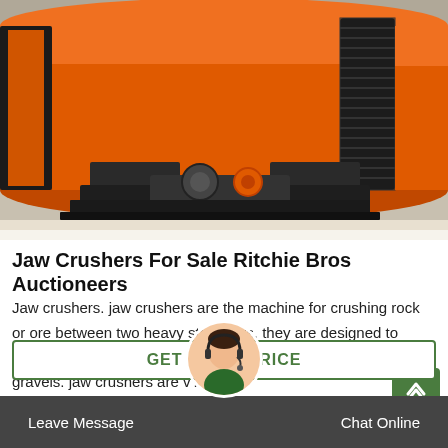[Figure (photo): Close-up photo of a large orange industrial rotary drum/kiln or crusher cylinder on a support frame, with black rubber seals and a gear ring visible. The equipment sits on a concrete floor in an industrial setting.]
Jaw Crushers For Sale Ritchie Bros Auctioneers
Jaw crushers. jaw crushers are the machine for crushing rock or ore between two heavy steel jaws. they are designed to reduce the size of large rocks into smaller rocks such as gravels. jaw crushers are v...
GET LATEST PRICE
Leave Message
Chat Online